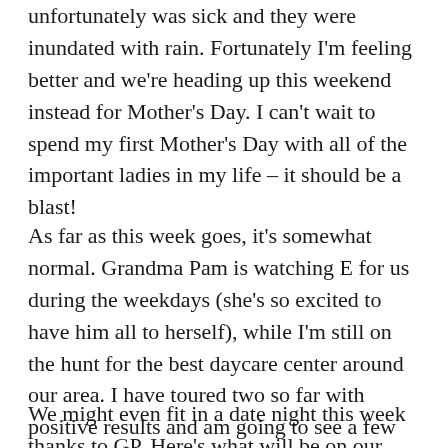unfortunately was sick and they were inundated with rain.  Fortunately I'm feeling better and we're heading up this weekend instead for Mother's Day.  I can't wait to spend my first Mother's Day with all of the important ladies in my life – it should be a blast!
As far as this week goes, it's somewhat normal.  Grandma Pam is watching E for us during the weekdays (she's so excited to have him all to herself), while I'm still on the hunt for the best daycare center around our area.  I have toured two so far with positive results and am going to see a few more before we make our final decision.  August will be here before you know it and I will be so relieved when we finally decide!
We might even fit in a date night this week thanks to GP.  Here's what will be on our plates, I hope you're having something to eat as well!  Here we go to add some